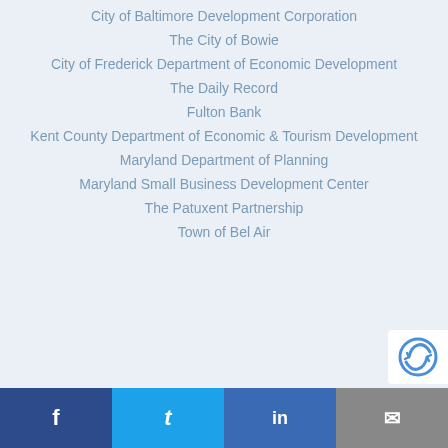City of Baltimore Development Corporation
The City of Bowie
City of Frederick Department of Economic Development
The Daily Record
Fulton Bank
Kent County Department of Economic & Tourism Development
Maryland Department of Planning
Maryland Small Business Development Center
The Patuxent Partnership
Town of Bel Air
Facebook | Twitter | LinkedIn | Email